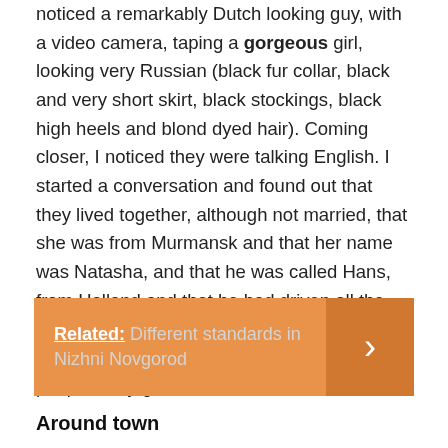noticed a remarkably Dutch looking guy, with a video camera, taping a gorgeous girl, looking very Russian (black fur collar, black and very short skirt, black stockings, black high heels and blond dyed hair). Coming closer, I noticed they were talking English. I started a conversation and found out that they lived together, although not married, that she was from Murmansk and that her name was Natasha, and that he was called Hans, from Holland and that he had driven all the way from the Netherlands up to Murmansk with a TV in the back of his car. Friendly people, they gave me a ride back in to town.
Related: Different standards in Nizhni Novgorod
Around town